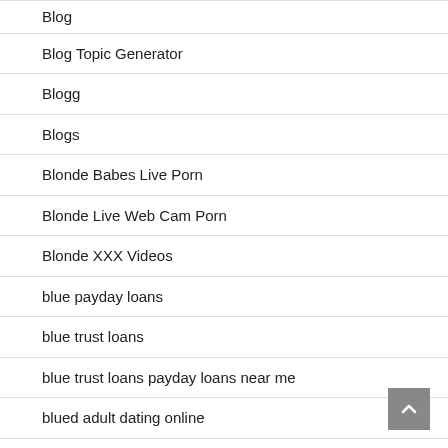Blog
Blog Topic Generator
Blogg
Blogs
Blonde Babes Live Porn
Blonde Live Web Cam Porn
Blonde XXX Videos
blue payday loans
blue trust loans
blue trust loans payday loans near me
blued adult dating online